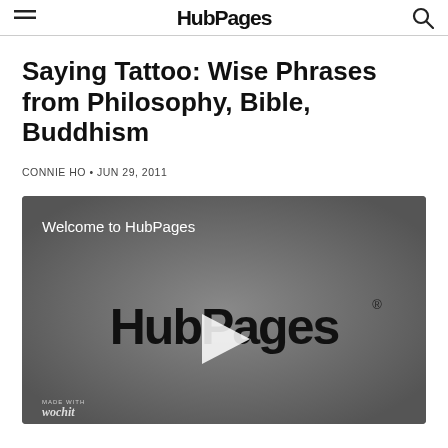HubPages
Saying Tattoo: Wise Phrases from Philosophy, Bible, Buddhism
CONNIE HO • JUN 29, 2011
[Figure (screenshot): Video player showing 'Welcome to HubPages' with HubPages logo and play button on grey background, wochit branding bottom left]